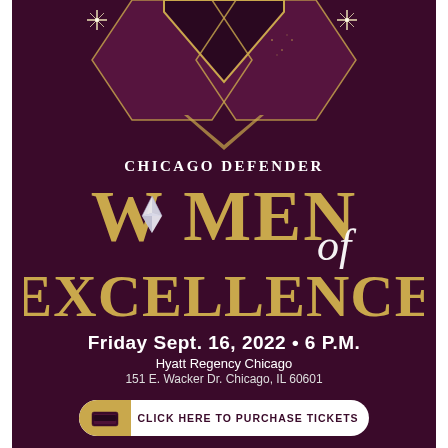[Figure (illustration): Decorative top graphic with dark purple/maroon hexagonal shapes, gold borders, sparkle/star light effects on a deep dark purple background]
CHICAGO DEFENDER
[Figure (logo): Women of Excellence logo in large gold serif letters with a diamond gem replacing the 'o' in Women, and a decorative cursive 'of' script]
Friday Sept. 16, 2022 • 6 P.M.
Hyatt Regency Chicago
151 E. Wacker Dr. Chicago, IL 60601
CLICK HERE TO PURCHASE TICKETS